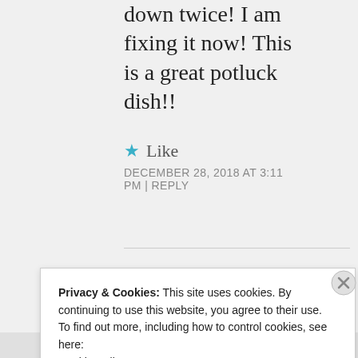down twice! I am fixing it now! This is a great potluck dish!!
Like
DECEMBER 28, 2018 AT 3:11 PM | REPLY
Privacy & Cookies: This site uses cookies. By continuing to use this website, you agree to their use.
To find out more, including how to control cookies, see here:
Cookie Policy
Close and accept